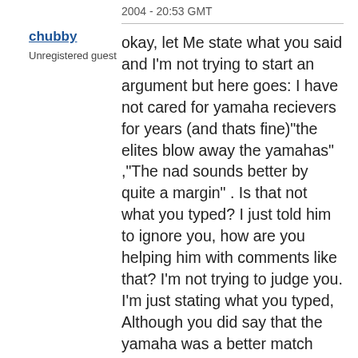2004 - 20:53 GMT
chubby
Unregistered guest
okay, let Me state what you said and I'm not trying to start an argument but here goes: I have not cared for yamaha recievers for years (and thats fine)"the elites blow away the yamahas" ,"The nad sounds better by quite a margin" . Is that not what you typed? I just told him to ignore you, how are you helping him with comments like that? I'm not trying to judge you. I'm just stating what you typed, Although you did say that the yamaha was a better match